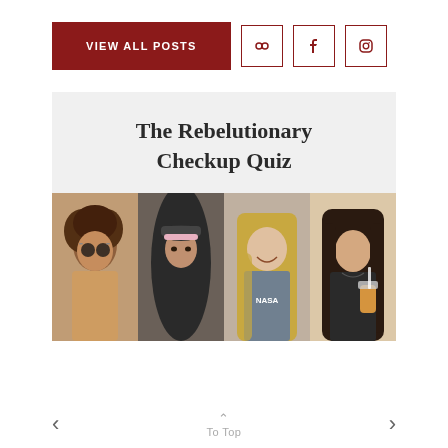VIEW ALL POSTS
The Rebelutionary Checkup Quiz
[Figure (photo): A horizontal strip of four photos of teenage girls/young people: first with curly hair and round sunglasses, second in a black hoodie with a pink visor cap, third smiling with long blonde hair wearing a NASA t-shirt, fourth with long dark hair holding a drink.]
< To Top >